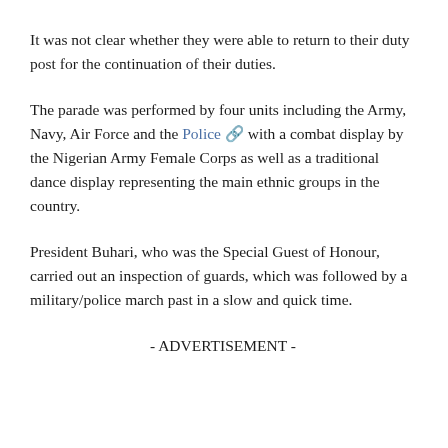It was not clear whether they were able to return to their duty post for the continuation of their duties.
The parade was performed by four units including the Army, Navy, Air Force and the Police 🔗 with a combat display by the Nigerian Army Female Corps as well as a traditional dance display representing the main ethnic groups in the country.
President Buhari, who was the Special Guest of Honour, carried out an inspection of guards, which was followed by a military/police march past in a slow and quick time.
- ADVERTISEMENT -